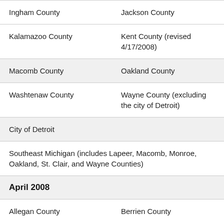| Ingham County | Jackson County |
| Kalamazoo County | Kent County (revised 4/17/2008) |
| Macomb County | Oakland County |
| Washtenaw County | Wayne County (excluding the city of Detroit) |
| City of Detroit |  |
| Southeast Michigan (includes Lapeer, Macomb, Monroe, Oakland, St. Clair, and Wayne Counties) |  |
| April 2008 |  |
| Allegan County | Berrien County |